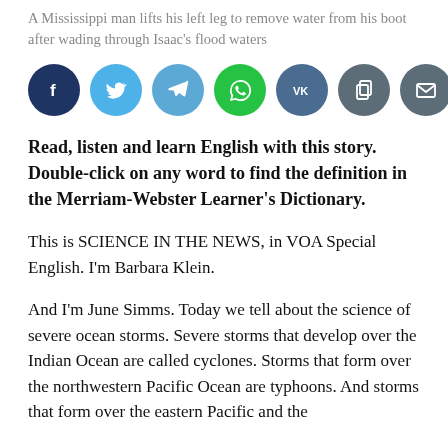A Mississippi man lifts his left leg to remove water from his boot after wading through Isaac's flood waters
[Figure (other): Row of social media share buttons: Facebook, Twitter, Telegram, WhatsApp, VK, Copy, Email]
Read, listen and learn English with this story. Double-click on any word to find the definition in the Merriam-Webster Learner's Dictionary.
This is SCIENCE IN THE NEWS, in VOA Special English. I'm Barbara Klein.
And I'm June Simms. Today we tell about the science of severe ocean storms. Severe storms that develop over the Indian Ocean are called cyclones. Storms that form over the northwestern Pacific Ocean are typhoons. And storms that form over the eastern Pacific and the